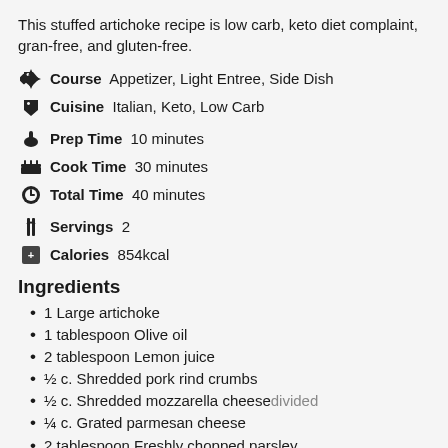This stuffed artichoke recipe is low carb, keto diet complaint, gran-free, and gluten-free.
Course: Appetizer, Light Entree, Side Dish
Cuisine: Italian, Keto, Low Carb
Prep Time: 10 minutes
Cook Time: 30 minutes
Total Time: 40 minutes
Servings: 2
Calories: 854kcal
Ingredients
1 Large artichoke
1 tablespoon Olive oil
2 tablespoon Lemon juice
½ c. Shredded pork rind crumbs
½ c. Shredded mozzarella cheese divided
¼ c. Grated parmesan cheese
2 tablespoon Freshly chopped parsley
1 teaspoon Minced garlic